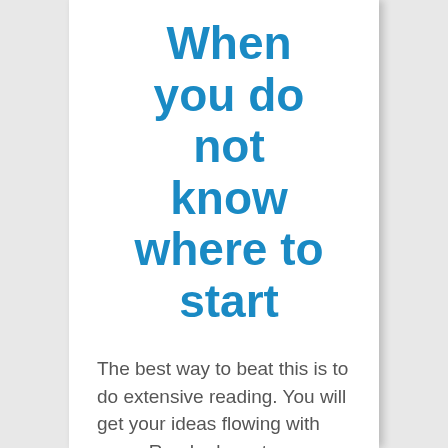When you do not know where to start
The best way to beat this is to do extensive reading. You will get your ideas flowing with ease. Read relevant publications to your topic as much